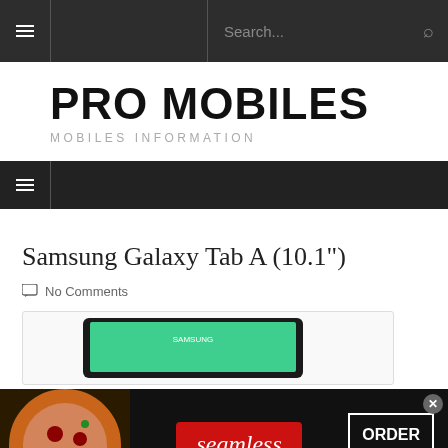PRO MOBILES — MOBILES INFORMATION (navigation bar with search)
PRO MOBILES
MOBILES INFORMATION
Samsung Galaxy Tab A (10.1")
No Comments
[Figure (photo): Samsung Galaxy Tab A tablet device shown in a bordered box]
[Figure (photo): Seamless food delivery advertisement banner with pizza image, seamless logo in red, and ORDER NOW button]